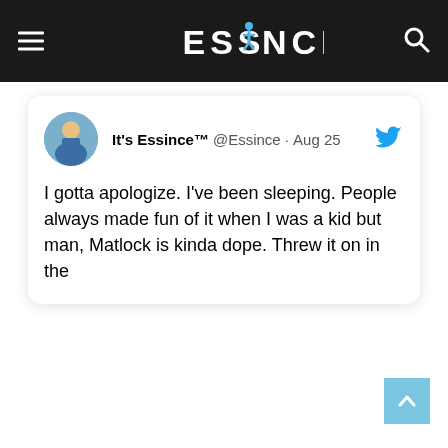ESSINCE (website header with hamburger menu and search icon)
[Figure (screenshot): Tweet card from @Essince (It's Essince™) dated Aug 25, with profile photo, Twitter bird icon, and tweet text: 'I gotta apologize. I've been sleeping. People always made fun of it when I was a kid but man, Matlock is kinda dope. Threw it on in the']
[Figure (other): Scroll-to-top button (light blue square with upward chevron arrow) in bottom right corner]